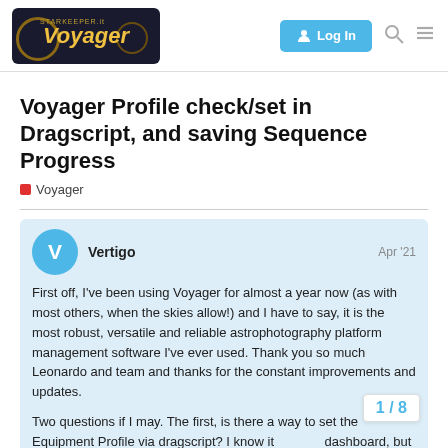StarKeeper.it Voyager — Log In (navigation)
Voyager Profile check/set in Dragscript, and saving Sequence Progress
Voyager
Vertigo  Apr '21
First off, I've been using Voyager for almost a year now (as with most others, when the skies allow!) and I have to say, it is the most robust, versatile and reliable astrophotography platform management software I've ever used. Thank you so much Leonardo and team and thanks for the constant improvements and updates.

Two questions if I may. The first, is there a way to set the Equipment Profile via dragscript? I know it dashboard, but was wondering if I've misse dragscript to achieve this. I have 2 equipm
1 / 8